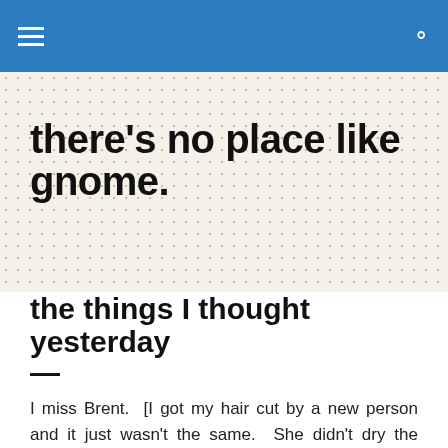[hamburger menu icon] [search icon]
there's no place like gnome.
the things I thought yesterday —
I miss Brent.  [I got my hair cut by a new person and it just wasn't the same.  She didn't dry the inside of  my ears or brush off my back when I was done.  The haircut itself is sketchy; stay posted.]
My sister was a darn cute baby.  [We put up photos for the grad party yesterday.  Never mind the fact that we looked a lot alike as children.  This leads to picture confusion;